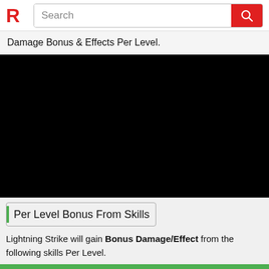R  Search
Damage Bonus & Effects Per Level.
[Figure (other): Black rectangular area representing a video or image embed placeholder]
Per Level Bonus From Skills
Lightning Strike will gain Bonus Damage/Effect from the following skills Per Level.